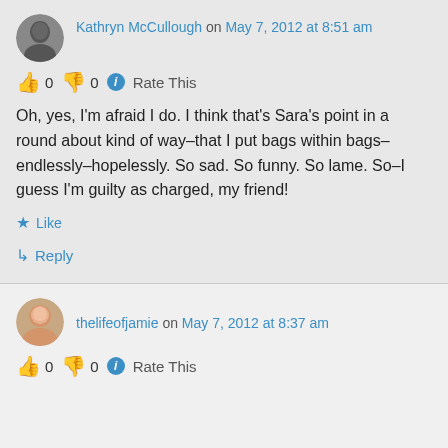Kathryn McCullough on May 7, 2012 at 8:51 am
👍 0 👎 0 ℹ Rate This
Oh, yes, I'm afraid I do. I think that's Sara's point in a round about kind of way–that I put bags within bags–endlessly–hopelessly. So sad. So funny. So lame. So–I guess I'm guilty as charged, my friend!
★ Like
↳ Reply
thelifeofjamie on May 7, 2012 at 8:37 am
👍 0 👎 0 ℹ Rate This